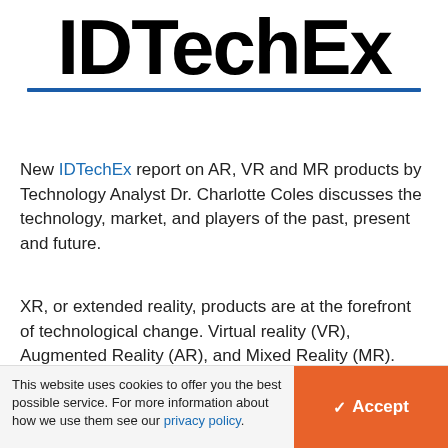[Figure (logo): IDTechEx logo in large bold black text with a blue horizontal underline]
New IDTechEx report on AR, VR and MR products by Technology Analyst Dr. Charlotte Coles discusses the technology, market, and players of the past, present and future.
XR, or extended reality, products are at the forefront of technological change. Virtual reality (VR), Augmented Reality (AR), and Mixed Reality (MR). With so many different XR products now available for a variety of
This website uses cookies to offer you the best possible service. For more information about how we use them see our privacy policy.